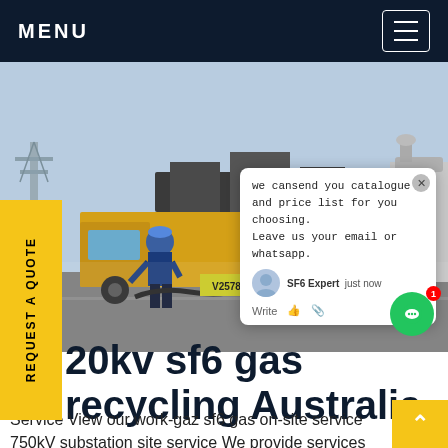MENU
[Figure (photo): Worker in blue coveralls and hard hat unloading equipment from a yellow flatbed truck at an industrial/substation site. Blue barrels and cables visible on the truck. Substation equipment visible in background.]
REQUEST A QUOTE
we cansend you catalogue and price list for you choosing. Leave us your email or whatsapp.
SF6 Expert  just now
Write
20kv sf6 gas recycling Australia
Service View our work-gaz sf6 gas on-site service 750kV substation site service We provide services